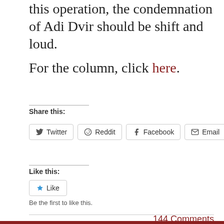this operation, the condemnation of Adi Dvir should be shift and loud.
For the column, click here.
Share this:
Twitter Reddit Facebook Email
Like this:
Like
Be the first to like this.
144 Comments